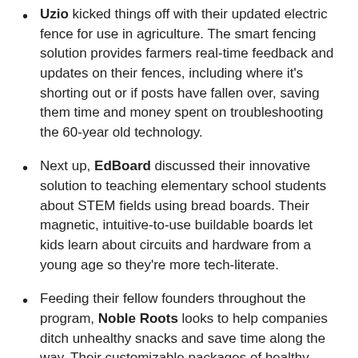Uzio kicked things off with their updated electric fence for use in agriculture. The smart fencing solution provides farmers real-time feedback and updates on their fences, including where it's shorting out or if posts have fallen over, saving them time and money spent on troubleshooting the 60-year old technology.
Next up, EdBoard discussed their innovative solution to teaching elementary school students about STEM fields using bread boards. Their magnetic, intuitive-to-use buildable boards let kids learn about circuits and hardware from a young age so they're more tech-literate.
Feeding their fellow founders throughout the program, Noble Roots looks to help companies ditch unhealthy snacks and save time along the way. Their customizable packages of healthy snacks get delivered straight to office doors. Orderers can choose